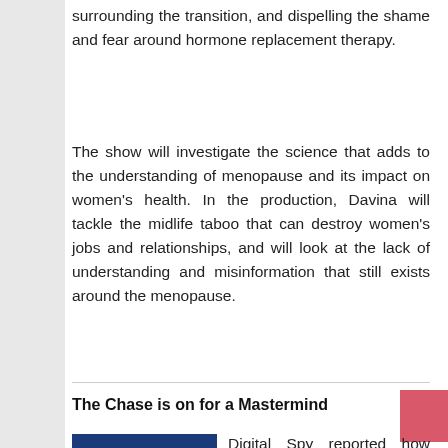surrounding the transition, and dispelling the shame and fear around hormone replacement therapy.
The show will investigate the science that adds to the understanding of menopause and its impact on women's health. In the production, Davina will tackle the midlife taboo that can destroy women's jobs and relationships, and will look at the lack of understanding and misinformation that still exists around the menopause.
The Chase is on for a Mastermind
Digital Spy reported how following Mastermind host John